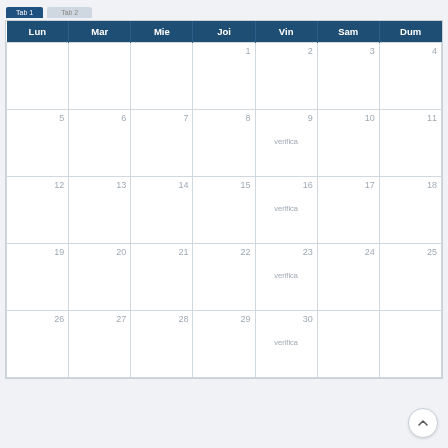| Lun | Mar | Mie | Joi | Vin | Sam | Dum |
| --- | --- | --- | --- | --- | --- | --- |
|  |  |  | 1 | 2 | 3 | 4 |
| 5 | 6 | 7 | 8 | 9
verifica | 10 | 11 |
| 12 | 13 | 14 | 15 | 16
verifica | 17 | 18 |
| 19 | 20 | 21 | 22 | 23
verifica | 24 | 25 |
| 26 | 27 | 28 | 29 | 30
verifica |  |  |